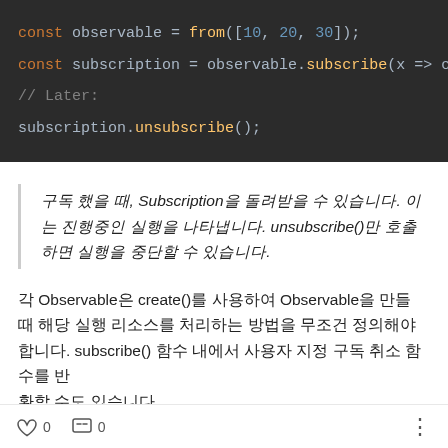[Figure (screenshot): Dark-themed code editor showing JavaScript RxJS code: const observable = from([10, 20, 30]); const subscription = observable.subscribe(x => cons... // Later: subscription.unsubscribe();]
구독 했을 때, Subscription을 돌려받을 수 있습니다. 이는 진행중인 실행을 나타냅니다. unsubscribe()만 호출하면 실행을 중단할 수 있습니다.
각 Observable은 create()를 사용하여 Observable을 만들 때 해당 실행 리소스를 처리하는 방법을 무조건 정의해야합니다. subscribe() 함수 내에서 사용자 지정 구독 취소 함수를 반환할 수도 있습니다.